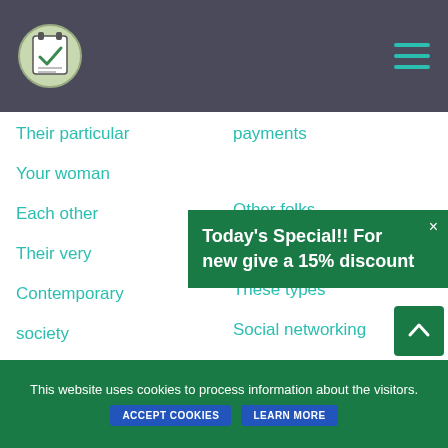[Figure (screenshot): Navigation bar with logo (checklist icon in green circle) and hamburger menu icon on dark background]
Their particular
payments
Your woman
Each other
Other folks
Their very
Their lives
Contemporary
These types
society
Social networking
Health care
Affected person
Today's Special!! For new give a 15% discount
This website uses cookies to process information about the visitors.
Accept Cookies
Learn more